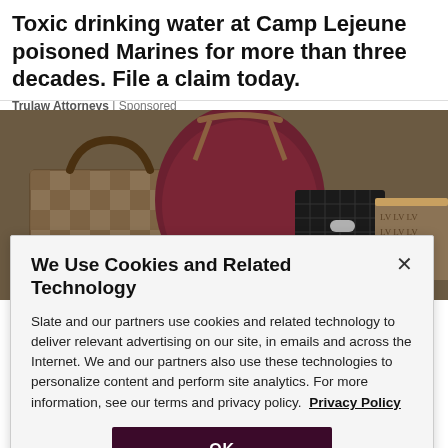Toxic drinking water at Camp Lejeune poisoned Marines for more than three decades. File a claim today.
Trulaw Attorneys | Sponsored
[Figure (photo): Collection of luxury designer handbags including Louis Vuitton damier check pattern bags, a large dark red/burgundy hobo bag, black quilted Chanel bags, and other designer bags arranged together]
We Use Cookies and Related Technology
Slate and our partners use cookies and related technology to deliver relevant advertising on our site, in emails and across the Internet. We and our partners also use these technologies to personalize content and perform site analytics. For more information, see our terms and privacy policy. Privacy Policy